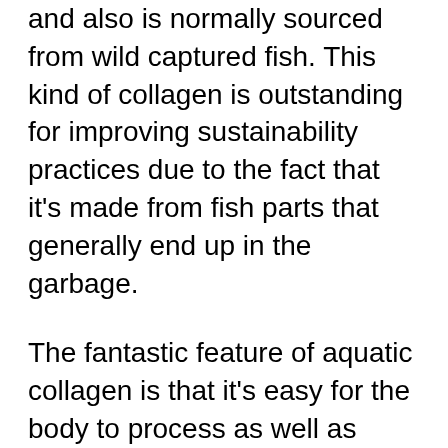and also is normally sourced from wild captured fish. This kind of collagen is outstanding for improving sustainability practices due to the fact that it's made from fish parts that generally end up in the garbage.
The fantastic feature of aquatic collagen is that it's easy for the body to process as well as soak up.
Regrettably, any person on a vegan or rigorous vegan diet can not take collagen supplements because it's always sourced from some sort of pet product.
Unlike typical gelatin, bovine collagen as well as aquatic collagen do not include any type